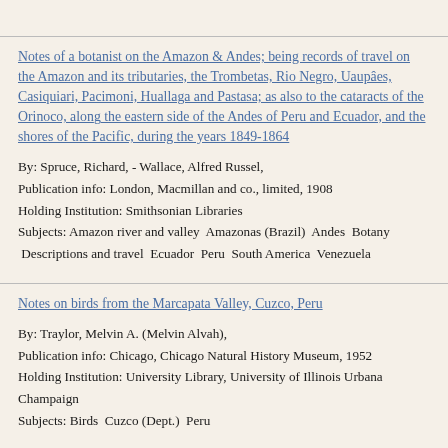Notes of a botanist on the Amazon & Andes; being records of travel on the Amazon and its tributaries, the Trombetas, Rio Negro, Uaupâes, Casiquiari, Pacimoni, Huallaga and Pastasa; as also to the cataracts of the Orinoco, along the eastern side of the Andes of Peru and Ecuador, and the shores of the Pacific, during the years 1849-1864
By: Spruce, Richard, - Wallace, Alfred Russel,
Publication info: London, Macmillan and co., limited, 1908
Holding Institution: Smithsonian Libraries
Subjects: Amazon river and valley  Amazonas (Brazil)  Andes  Botany  Descriptions and travel  Ecuador  Peru  South America  Venezuela
Notes on birds from the Marcapata Valley, Cuzco, Peru
By: Traylor, Melvin A. (Melvin Alvah),
Publication info: Chicago, Chicago Natural History Museum, 1952
Holding Institution: University Library, University of Illinois Urbana Champaign
Subjects: Birds  Cuzco (Dept.)  Peru
Notes of a bot... Tales taking with descriptions of...